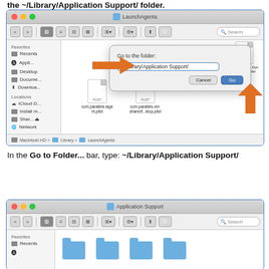the ~/Library/Application Support/ folder.
[Figure (screenshot): macOS Finder window showing LaunchAgents folder with a 'Go to the folder:' dialog open. The dialog shows the path '~/Library/Application Support/' typed in. Two orange arrows point to the dialog: one from the left sidebar, one from the right side near a .plist file. The window shows com.parallels.iagent.plist and com.parallels.vm.sharedf...ktop.plist files. Breadcrumb shows: Macintosh HD > Library > LaunchAgents.]
In the Go to Folder... bar, type: ~/Library/Application Support/
[Figure (screenshot): macOS Finder window showing Application Support folder with multiple blue folder icons visible in the content area. Favorites sidebar shows Recents.]